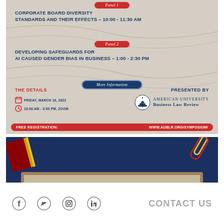[Figure (infographic): Event flyer for American University Business Law Review symposium. Panel 1: Corporate Board Diversity Standards and Their Effects – 10:00 - 11:30 AM. Panel 2: Developing Safeguards for AI Caused Gender Bias in Business – 1:00 - 2:30 PM. More Information section. Details: Friday, March 18, 2022; 10:00 AM - 3:00 PM, Zoom. Presented by American University Business Law Review. Free Registration: www.aublr.org/symposium/]
[Figure (infographic): Dark navy blue banner with decorative elements (books, paperclips) and a corkboard-style sign reading BACK TO BASICS]
CONTACT US
[Figure (infographic): Social media icons: Facebook, Twitter, Instagram, LinkedIn]